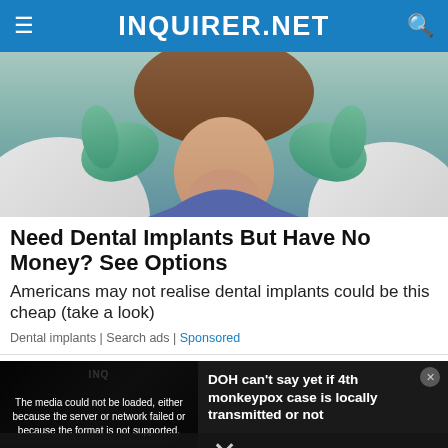INQUIRER.NET
[Figure (photo): Close-up of a dental patient with a woman's face and chin visible, hands in green gloves near her jaw, dental/medical setting background]
Need Dental Implants But Have No Money? See Options
Americans may not realise dental implants could be this cheap (take a look)
Dental implants | Search ads | Sponsored
[Figure (screenshot): Video player showing 'DOH can't say yet if 4th monkeypox case is locally transmitted or not' with error overlay: 'The media could not be loaded, either because the server or network failed or because the format is not supported.']